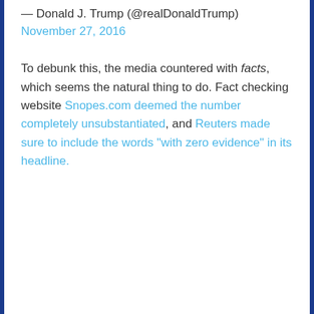— Donald J. Trump (@realDonaldTrump) November 27, 2016
To debunk this, the media countered with facts, which seems the natural thing to do. Fact checking website Snopes.com deemed the number completely unsubstantiated, and Reuters made sure to include the words “with zero evidence” in its headline.